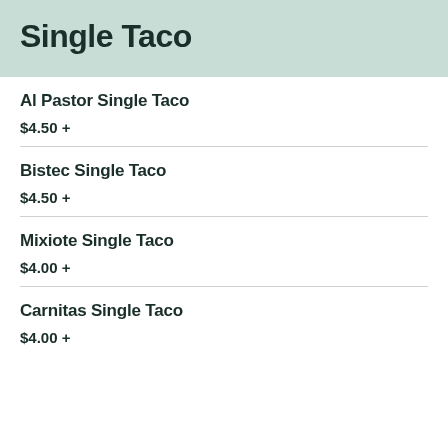Single Taco
Al Pastor Single Taco
$4.50 +
Bistec Single Taco
$4.50 +
Mixiote Single Taco
$4.00 +
Carnitas Single Taco
$4.00 +